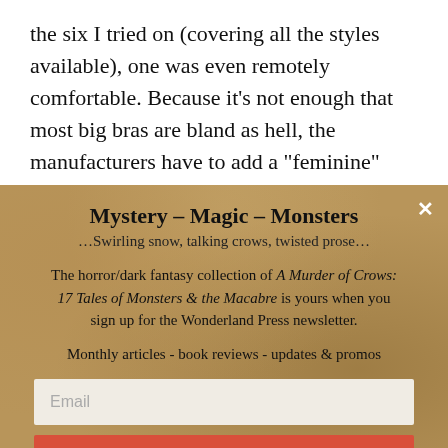the six I tried on (covering all the styles available), one was even remotely comfortable. Because it’s not enough that most big bras are bland as hell, the manufacturers have to add a “feminine” touch and put bits of razor-sharp lace across various areas that tend to dig in after a few hours. –If they could get away with
[Figure (other): Newsletter signup overlay with parchment/aged texture background. Title: Mystery - Magic - Monsters. Subtitle: ...Swirling snow, talking crows, twisted prose... Body text about A Murder of Crows: 17 Tales of Monsters & the Macabre collection. Email input field and Subscribe button.]